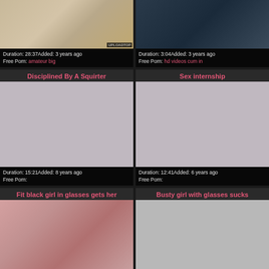[Figure (screenshot): Video thumbnail top-left: skin/floor tones, UPLOADTOP badge]
Duration: 28:37Added: 3 years ago
Free Porn: amateur big
[Figure (screenshot): Video thumbnail top-right: dark blue-gray tones]
Duration: 3:04Added: 3 years ago
Free Porn: hd videos cum in
Disciplined By A Squirter
[Figure (screenshot): Video thumbnail mid-left: gray placeholder]
Duration: 15:21Added: 8 years ago
Free Porn:
Sex internship
[Figure (screenshot): Video thumbnail mid-right: gray placeholder]
Duration: 12:41Added: 6 years ago
Free Porn:
Fit black girl in glasses gets her
[Figure (screenshot): Video thumbnail bottom-left: skin tones]
Busty girl with glasses sucks
[Figure (screenshot): Video thumbnail bottom-right: gray placeholder]